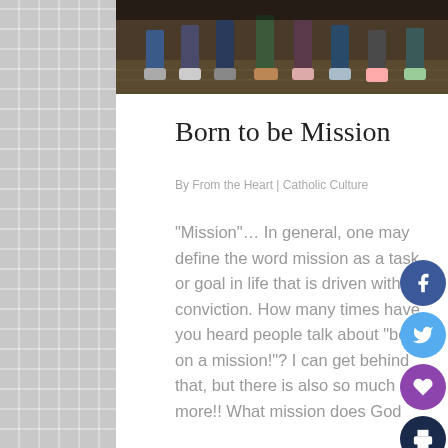[Figure (photo): Top portion of a photo showing feet/legs of several people sitting together on what appears to be a wooden surface or steps]
Born to be Mission
By From the Heart | Catholic Culture
"Mission"… In general, one may define the word mission as a task or goal in life that is driven with conviction.  How many times have you heard people talk about "being on a mission!"?  I can get behind that, but there is also so much more!! What mission does God